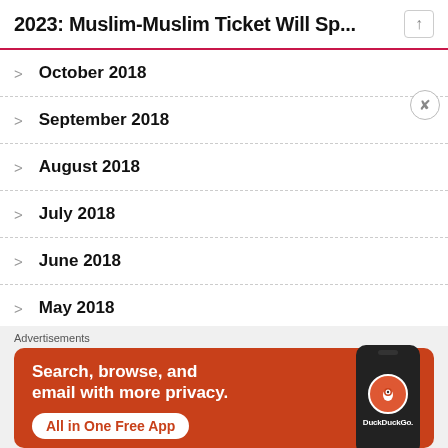2023: Muslim-Muslim Ticket Will Sp...
October 2018
September 2018
August 2018
July 2018
June 2018
May 2018
April 2018
[Figure (screenshot): DuckDuckGo advertisement banner with orange background. Text reads: Search, browse, and email with more privacy. All in One Free App. Shows phone with DuckDuckGo logo.]